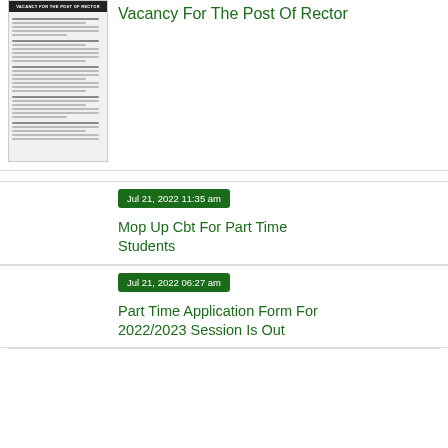[Figure (screenshot): Thumbnail image of a document titled 'Vacancy For The Post Of Rector']
Vacancy For The Post Of Rector
Jul 21, 2022 11:35 am
Mop Up Cbt For Part Time Students
Jul 21, 2022 06:27 am
Part Time Application Form For 2022/2023 Session Is Out